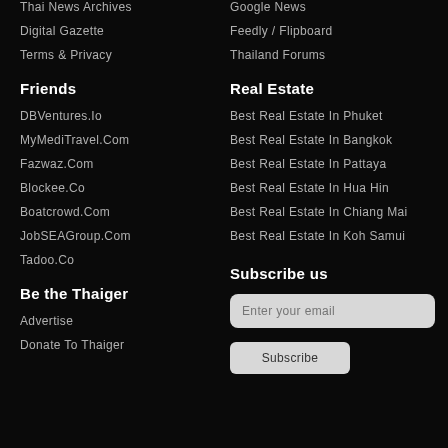Thai News Archives
Digital Gazette
Terms & Privacy
Friends
DBVentures.Io
MyMediTravel.Com
Fazwaz.Com
Blockee.Co
Boatcrowd.Com
JobSEAGroup.Com
Tadoo.Co
Be the Thaiger
Advertise
Donate To Thaiger
Google News
Feedly / Flipboard
Thailand Forums
Real Estate
Best Real Estate In Phuket
Best Real Estate In Bangkok
Best Real Estate In Pattaya
Best Real Estate In Hua Hin
Best Real Estate In Chiang Mai
Best Real Estate In Koh Samui
Subscribe us
Enter your email